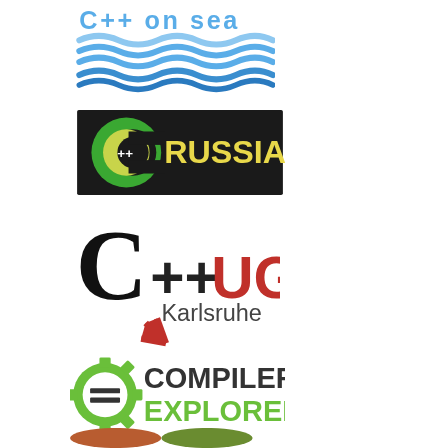[Figure (logo): C++ on Sea conference logo with blue wave stripes and text 'C++ on sea' in blue]
[Figure (logo): C++ Russia conference logo with black background, green C++ symbol and yellow text 'RUSSIA']
[Figure (logo): C++ UG Karlsruhe user group logo with black C, red ++UG text, gray Karlsruhe text, and red fan/rays icon]
[Figure (logo): Compiler Explorer logo with green gear icon containing equals sign and bold text 'COMPILER EXPLORER']
[Figure (logo): Partial view of another logo at the bottom showing brown and green oval shapes]